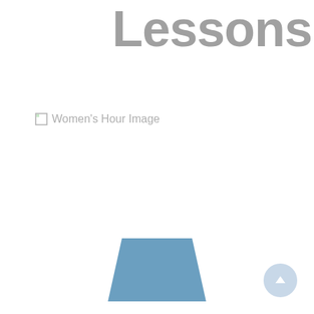Lessons
[Figure (illustration): Broken image placeholder showing "Women's Hour Image" alt text with a small image icon in the top-left corner]
[Figure (illustration): A blue trapezoid shape (wider at bottom than top) centered on the page, representing a golf tee or skirt icon]
Marriott Golf UK are kick-starting the summer with Women’s Hour, an initiative offering free lessons for women throughout the month of May, across all of their UK